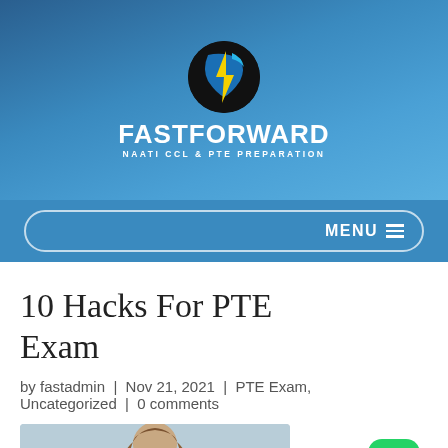[Figure (logo): FastForward NAATI CCL & PTE Preparation logo: black circle with yellow lightning bolt and blue stylized F, white bold text FASTFORWARD, subtitle NAATI CCL & PTE PREPARATION, on blue gradient background]
MENU
10 Hacks For PTE Exam
by fastadmin | Nov 21, 2021 | PTE Exam, Uncategorized | 0 comments
[Figure (photo): Partial photo of a woman with long brown hair, bottom portion visible, grey/blue tones]
[Figure (logo): WhatsApp icon: green rounded square with white phone/chat bubble icon]